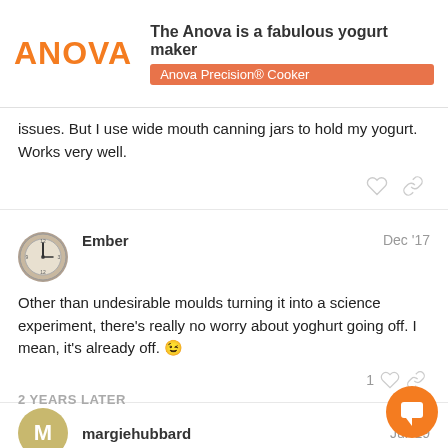[Figure (screenshot): Anova ad banner with orange ANOVA logo, bold title 'The Anova is a fabulous yogurt maker', and an orange badge reading 'Anova Precision® Cooker']
issues. But I use wide mouth canning jars to hold my yogurt. Works very well.
Ember
Dec '17
Other than undesirable moulds turning it into a science experiment, there's really no worry about yoghurt going off. I mean, it's already off. 😉
2 YEARS LATER
margiehubbard
Jul '19